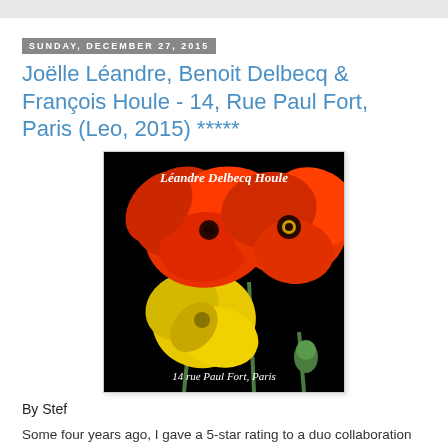Sunday, December 27, 2015
Joëlle Léandre, Benoit Delbecq & François Houle - 14, Rue Paul Fort, Paris (Leo, 2015) *****
[Figure (photo): Album cover for '14 rue Paul Fort, Paris' by Léandre Delbecq Houle. Black background with large red/orange poppy flowers and a yellow poppy flower. Script text at top reads 'Léandre Delbecq Houle' and at bottom '14 rue Paul Fort, Paris'.]
By Stef
Some four years ago, I gave a 5-star rating to a duo collaboration between French pianist Benoît Delbecq and Canadian clarinetist François Houle for their album